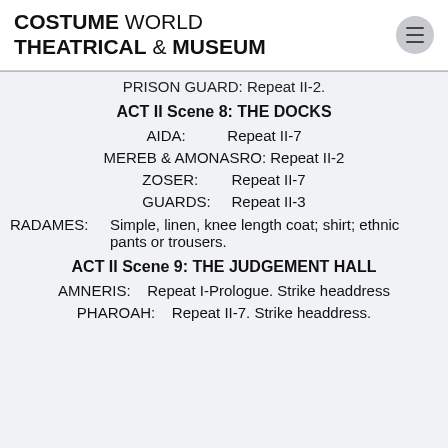COSTUME WORLD THEATRICAL & MUSEUM
PRISON GUARD: Repeat II-2.
ACT II Scene 8: THE DOCKS
AIDA: Repeat II-7
MEREB & AMONASRO: Repeat II-2
ZOSER: Repeat II-7
GUARDS: Repeat II-3
RADAMES: Simple, linen, knee length coat; shirt; ethnic pants or trousers.
ACT II Scene 9: THE JUDGEMENT HALL
AMNERIS: Repeat I-Prologue. Strike headdress
PHAROAH: Repeat II-7. Strike headdress.